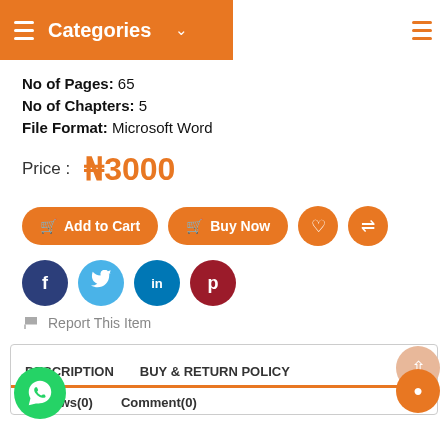Categories
No of Pages: 65
No of Chapters: 5
File Format: Microsoft Word
Price : ₦3000
[Figure (screenshot): Add to Cart and Buy Now buttons with heart and share icon buttons]
[Figure (screenshot): Social media share buttons: Facebook, Twitter, LinkedIn, Pinterest]
Report This Item
DESCRIPTION  BUY & RETURN POLICY
Reviews(0)  Comment(0)